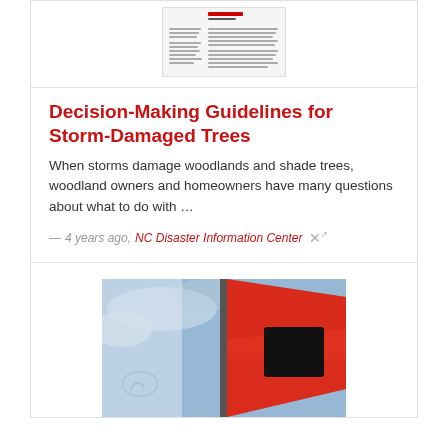[Figure (screenshot): Small thumbnail of a document page at the top of the card]
Decision-Making Guidelines for Storm-Damaged Trees
When storms damage woodlands and shade trees, woodland owners and homeowners have many questions about what to do with …
— 4 years ago, NC Disaster Information Center
[Figure (photo): Photo of a red hurricane warning flag with a black square in the center, against a blue sky with clouds. Snow or white surface visible on the left side.]